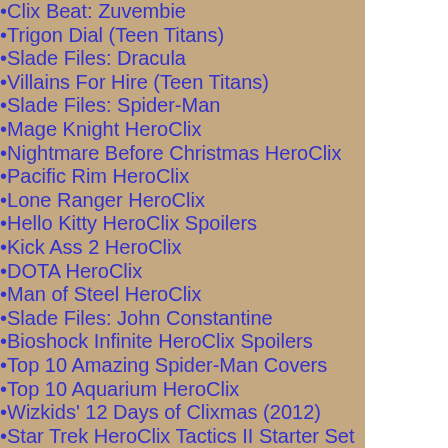Clix Beat: Zuvembie
Trigon Dial (Teen Titans)
Slade Files: Dracula
Villains For Hire (Teen Titans)
Slade Files: Spider-Man
Mage Knight HeroClix
Nightmare Before Christmas HeroClix
Pacific Rim HeroClix
Lone Ranger HeroClix
Hello Kitty HeroClix Spoilers
Kick Ass 2 HeroClix
DOTA HeroClix
Man of Steel HeroClix
Slade Files: John Constantine
Bioshock Infinite HeroClix Spoilers
Top 10 Amazing Spider-Man Covers
Top 10 Aquarium HeroClix
Wizkids' 12 Days of Clixmas (2012)
Star Trek HeroClix Tactics II Starter Set
Batman Streets of